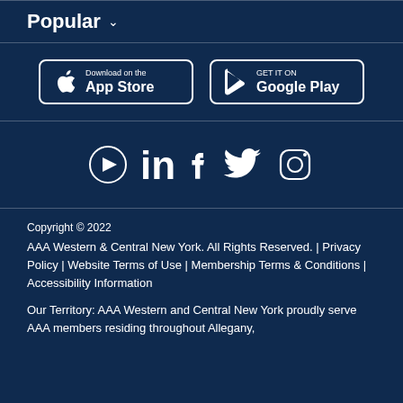Popular ∨
[Figure (other): App store download buttons: 'Download on the App Store' and 'GET IT ON Google Play']
[Figure (other): Social media icons: YouTube, LinkedIn, Facebook, Twitter, Instagram]
Copyright © 2022
AAA Western & Central New York. All Rights Reserved. | Privacy Policy | Website Terms of Use | Membership Terms & Conditions | Accessibility Information

Our Territory: AAA Western and Central New York proudly serve AAA members residing throughout Allegany,